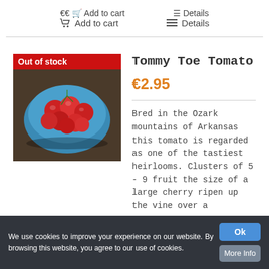🛒 Add to cart   ≡ Details
[Figure (photo): A blue bowl filled with red cherry tomatoes (Tommy Toe Tomatoes) on a wooden surface, with 'Out of stock' badge overlay]
Tommy Toe Tomato
€2.95
Bred in the Ozark mountains of Arkansas this tomato is regarded as one of the tastiest heirlooms. Clusters of 5 - 9 fruit the size of a large cherry ripen up the vine over a
We use cookies to improve your experience on our website. By browsing this website, you agree to our use of cookies.